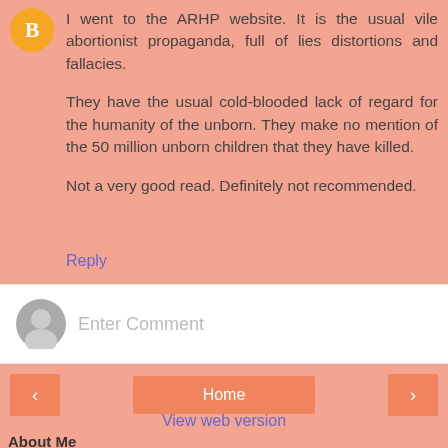I went to the ARHP website. It is the usual vile abortionist propaganda, full of lies distortions and fallacies.

They have the usual cold-blooded lack of regard for the humanity of the unborn. They make no mention of the 50 million unborn children that they have killed.

Not a very good read. Definitely not recommended.
Reply
Enter Comment
Home
View web version
About Me